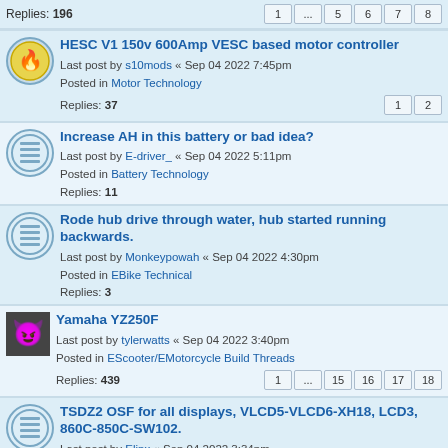Replies: 196  1 ... 5 6 7 8
HESC V1 150v 600Amp VESC based motor controller
Last post by s10mods « Sep 04 2022 7:45pm
Posted in Motor Technology
Replies: 37  1 2
Increase AH in this battery or bad idea?
Last post by E-driver_ « Sep 04 2022 5:11pm
Posted in Battery Technology
Replies: 11
Rode hub drive through water, hub started running backwards.
Last post by Monkeypowah « Sep 04 2022 4:30pm
Posted in EBike Technical
Replies: 3
Yamaha YZ250F
Last post by tylerwatts « Sep 04 2022 3:40pm
Posted in EScooter/EMotorcycle Build Threads
Replies: 439  1 ... 15 16 17 18
TSDZ2 OSF for all displays, VLCD5-VLCD6-XH18, LCD3, 860C-850C-SW102.
Last post by Elinx « Sep 04 2022 3:34pm
Posted in Motor Technology
Replies: 1474  1 ... 56 57 58 59
How to get a low voltage, high current controller?